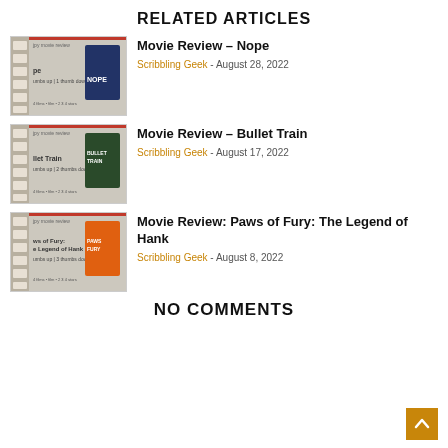RELATED ARTICLES
[Figure (photo): Thumbnail for Movie Review – Nope with film strip background and movie poster]
Movie Review – Nope
Scribbling Geek - August 28, 2022
[Figure (photo): Thumbnail for Movie Review – Bullet Train with film strip background and movie poster]
Movie Review – Bullet Train
Scribbling Geek - August 17, 2022
[Figure (photo): Thumbnail for Movie Review: Paws of Fury: The Legend of Hank with film strip background and movie poster]
Movie Review: Paws of Fury: The Legend of Hank
Scribbling Geek - August 8, 2022
NO COMMENTS